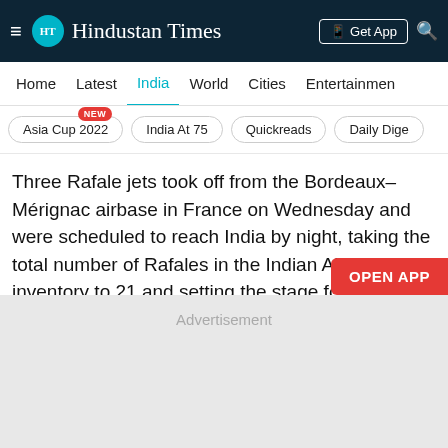Hindustan Times
Home  Latest  India  World  Cities  Entertainment
Asia Cup 2022  India At 75  Quickreads  Daily Dige
Three Rafale jets took off from the Bordeaux–Mérignac airbase in France on Wednesday and were scheduled to reach India by night, taking the total number of Rafales in the Indian Air Force inventory to 21 and setting the stage for raising the second squadron of the fighters in the country's eastern sector, officials familiar with the development said.
[Figure (other): Advertisement placeholder area (grey box)]